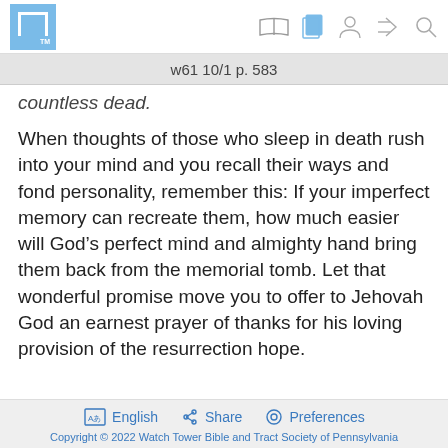w61 10/1 p. 583
countless dead.
When thoughts of those who sleep in death rush into your mind and you recall their ways and fond personality, remember this: If your imperfect memory can recreate them, how much easier will God’s perfect mind and almighty hand bring them back from the memorial tomb. Let that wonderful promise move you to offer to Jehovah God an earnest prayer of thanks for his loving provision of the resurrection hope.
English  Share  Preferences
Copyright © 2022 Watch Tower Bible and Tract Society of Pennsylvania